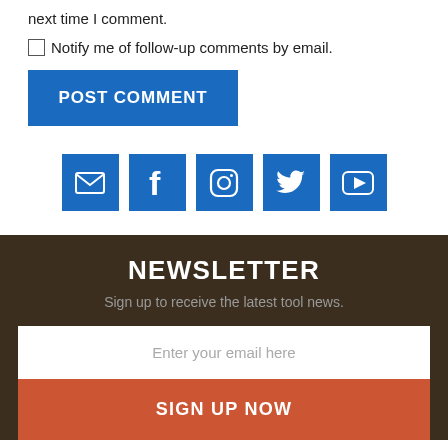next time I comment.
Notify me of follow-up comments by email.
POST COMMENT
[Figure (infographic): Row of 5 blue square social media icon buttons: email/envelope, Facebook, Instagram, Twitter, YouTube]
NEWSLETTER
Sign up to receive the latest tool news.
Enter your email here
SIGN UP NOW